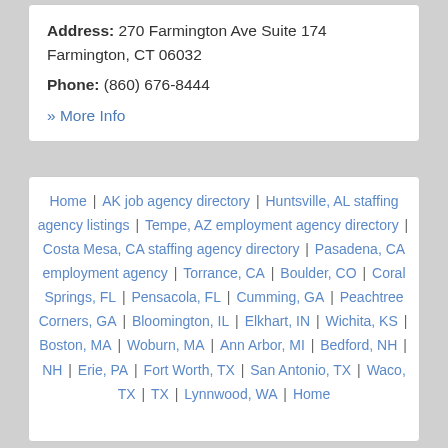Address: 270 Farmington Ave Suite 174 Farmington, CT 06032
Phone: (860) 676-8444
» More Info
Home | AK job agency directory | Huntsville, AL staffing agency listings | Tempe, AZ employment agency directory | Costa Mesa, CA staffing agency directory | Pasadena, CA employment agency | Torrance, CA | Boulder, CO | Coral Springs, FL | Pensacola, FL | Cumming, GA | Peachtree Corners, GA | Bloomington, IL | Elkhart, IN | Wichita, KS | Boston, MA | Woburn, MA | Ann Arbor, MI | Bedford, NH | NH | Erie, PA | Fort Worth, TX | San Antonio, TX | Waco, TX | TX | Lynnwood, WA | Home